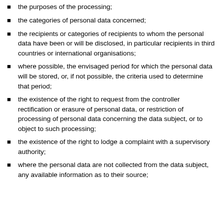the purposes of the processing;
the categories of personal data concerned;
the recipients or categories of recipients to whom the personal data have been or will be disclosed, in particular recipients in third countries or international organisations;
where possible, the envisaged period for which the personal data will be stored, or, if not possible, the criteria used to determine that period;
the existence of the right to request from the controller rectification or erasure of personal data, or restriction of processing of personal data concerning the data subject, or to object to such processing;
the existence of the right to lodge a complaint with a supervisory authority;
where the personal data are not collected from the data subject, any available information as to their source;